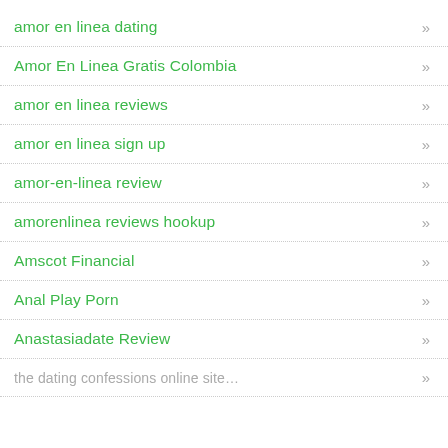amor en linea dating
Amor En Linea Gratis Colombia
amor en linea reviews
amor en linea sign up
amor-en-linea review
amorenlinea reviews hookup
Amscot Financial
Anal Play Porn
Anastasiadate Review
the datingconfessions online site…